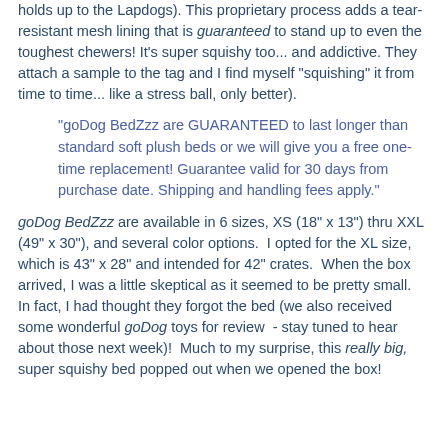holds up to the Lapdogs). This proprietary process adds a tear-resistant mesh lining that is guaranteed to stand up to even the toughest chewers!  It's super squishy too... and addictive.  They attach a sample to the tag and I find myself "squishing" it from time to time... like a stress ball, only better).
"goDog BedZzz are GUARANTEED to last longer than standard soft plush beds or we will give you a free one-time replacement! Guarantee valid for 30 days from purchase date. Shipping and handling fees apply."
goDog BedZzz are available in 6 sizes, XS (18" x 13") thru XXL (49" x 30"), and several color options.  I opted for the XL size, which is 43" x 28" and intended for 42" crates.  When the box arrived, I was a little skeptical as it seemed to be pretty small.  In fact, I had thought they forgot the bed (we also received some wonderful goDog toys for review  - stay tuned to hear about those next week)!  Much to my surprise, this really big, super squishy bed popped out when we opened the box!